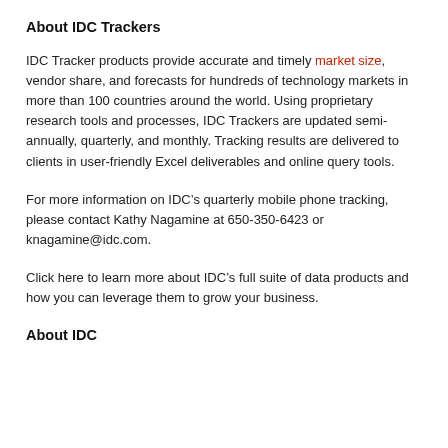About IDC Trackers
IDC Tracker products provide accurate and timely market size, vendor share, and forecasts for hundreds of technology markets in more than 100 countries around the world. Using proprietary research tools and processes, IDC Trackers are updated semi-annually, quarterly, and monthly. Tracking results are delivered to clients in user-friendly Excel deliverables and online query tools.
For more information on IDC’s quarterly mobile phone tracking, please contact Kathy Nagamine at 650-350-6423 or knagamine@idc.com.
Click here to learn more about IDC’s full suite of data products and how you can leverage them to grow your business.
About IDC